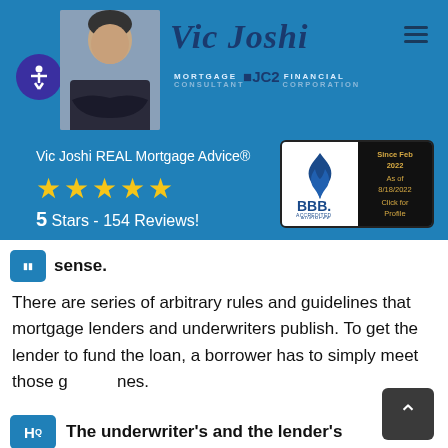Vic Joshi MORTGAGE CONSULTANT · C2 FINANCIAL
[Figure (photo): Portrait photo of Vic Joshi in a suit with arms crossed]
[Figure (logo): BBB Accredited Business badge — Since Feb 2022, As of 8/18/2022, Click for Profile]
Vic Joshi REAL Mortgage Advice®
★★★★★ 5 Stars - 154 Reviews!
sense.
There are series of arbitrary rules and guidelines that mortgage lenders and underwriters publish. To get the lender to fund the loan, a borrower has to simply meet those guidelines.
The underwriter's and the lender's